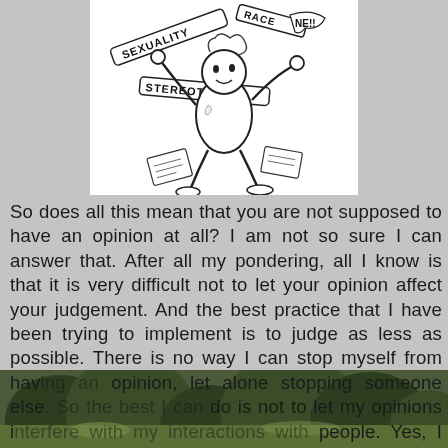[Figure (illustration): Black and white cartoon illustration of a chaotic figure surrounded by banners reading SEXUALITY, RACE, STEREOTYPE, with arms flailing and papers flying.]
So does all this mean that you are not supposed to have an opinion at all? I am not so sure I can answer that. After all my pondering, all I know is that it is very difficult not to let your opinion affect your judgement. And the best practice that I have been trying to implement is to judge as less as possible. There is no way I can stop myself from having an opinion, let alone stopping someone else. So the best I can do is not to let my opinions interfere with my interactions with people. Yes, I may not like to bold or but that does not mean there is something wrong with smokers. Yes I do have an opinion, they have a choice. It is that free will that makes do it; and this is no reason to judge them for that. They could be perfectly reasonable people, excellent at work, kind